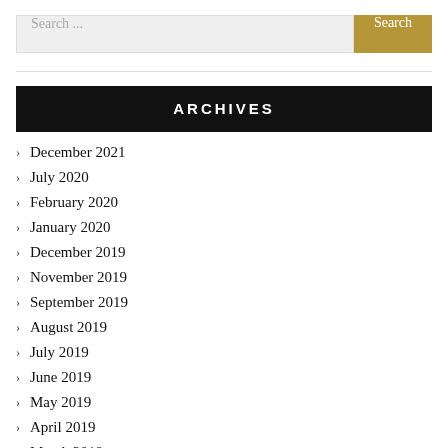Search ...
ARCHIVES
December 2021
July 2020
February 2020
January 2020
December 2019
November 2019
September 2019
August 2019
July 2019
June 2019
May 2019
April 2019
March 2019